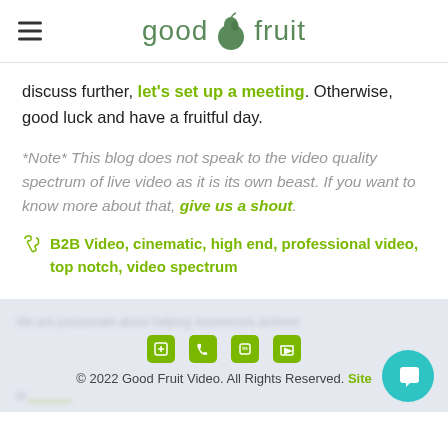good fruit
discuss further, let's set up a meeting. Otherwise, good luck and have a fruitful day.
*Note* This blog does not speak to the video quality spectrum of live video as it is its own beast. If you want to know more about that, give us a shout.
B2B Video, cinematic, high end, professional video, top notch, video spectrum
© 2022 Good Fruit Video. All Rights Reserved. Site